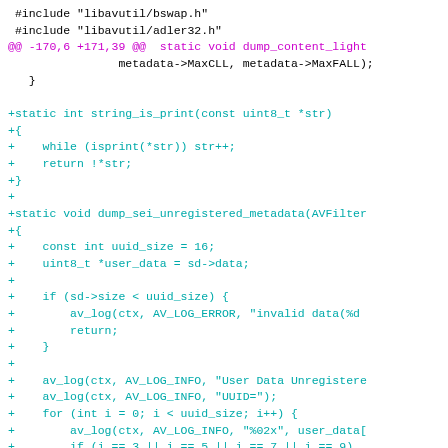[Figure (screenshot): A code diff snippet showing added C functions: string_is_print and dump_sei_unregistered_metadata, with syntax highlighting in teal, red, and magenta on white background.]